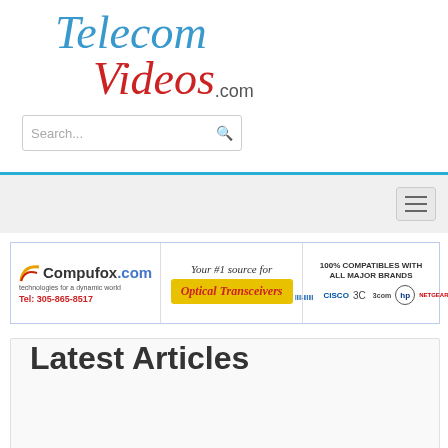[Figure (logo): TelecomVideos.com logo with blue italic 'Telecom' and red italic 'Videos' text]
[Figure (screenshot): Search input box with placeholder 'Search...' and magnifier icon]
[Figure (screenshot): Navigation bar with cyan top border and hamburger menu icon on right]
[Figure (screenshot): Compufox.com advertisement banner: 'Your #1 source for Optical Transceivers', '100% COMPATIBLES WITH ALL MAJOR BRANDS', with Cisco, 3com, HP, Netgear logos]
Latest Articles